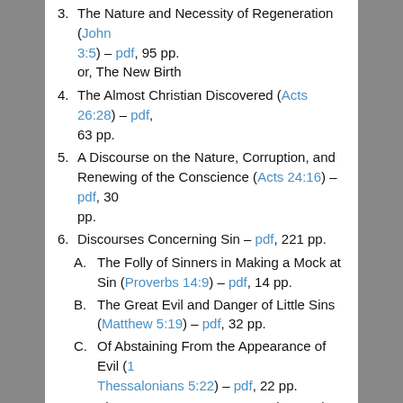3. The Nature and Necessity of Regeneration (John 3:5) – pdf, 95 pp.
or, The New Birth
4. The Almost Christian Discovered (Acts 26:28) – pdf, 63 pp.
5. A Discourse on the Nature, Corruption, and Renewing of the Conscience (Acts 24:16) – pdf, 30 pp.
6. Discourses Concerning Sin – pdf, 221 pp.
A. The Folly of Sinners in Making a Mock at Sin (Proverbs 14:9) – pdf, 14 pp.
B. The Great Evil and Danger of Little Sins (Matthew 5:19) – pdf, 32 pp.
C. Of Abstaining From the Appearance of Evil (1 Thessalonians 5:22) – pdf, 22 pp.
D. The Nature, Danger, Aggravation, and Cure of Presumptuous Sinning (Psalm 19:13) – pdf, 82 pp.
E. The Dreadfulness of God's Wrath Against Sinners (Hebrews 10:30–31) – pdf, 31 pp.
F. Of Pardon and Forgiveness of Sin (Isaiah